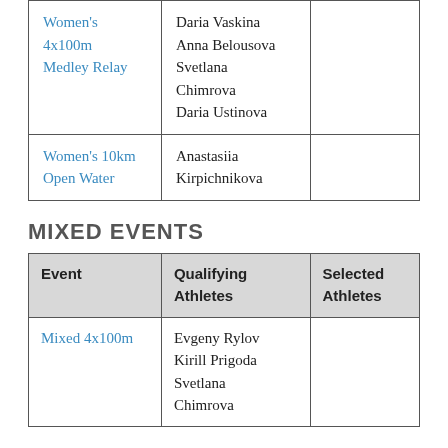| Event | Qualifying Athletes | Selected Athletes |
| --- | --- | --- |
| Women's 4x100m Medley Relay | Daria Vaskina
Anna Belousova
Svetlana Chimrova
Daria Ustinova |  |
| Women's 10km Open Water | Anastasiia Kirpichnikova |  |
MIXED EVENTS
| Event | Qualifying Athletes | Selected Athletes |
| --- | --- | --- |
| Mixed 4x100m | Evgeny Rylov
Kirill Prigoda
Svetlana Chimrova |  |